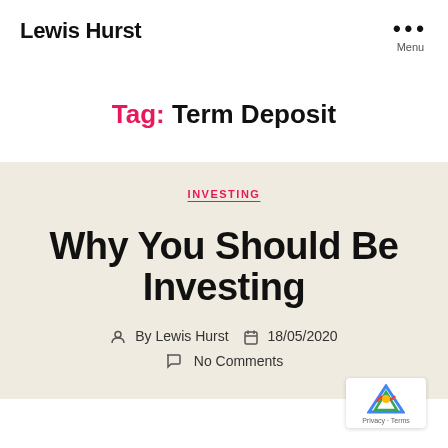Lewis Hurst
Tag: Term Deposit
INVESTING
Why You Should Be Investing
By Lewis Hurst  18/05/2020
No Comments